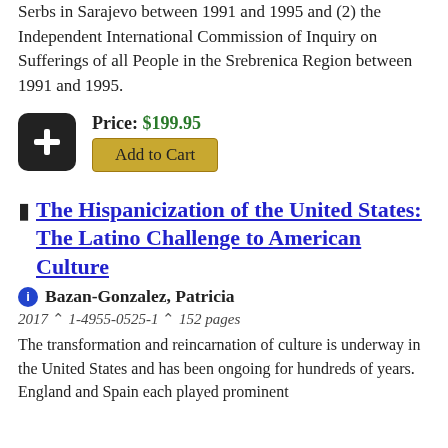Serbs in Sarajevo between 1991 and 1995 and (2) the Independent International Commission of Inquiry on Sufferings of all People in the Srebrenica Region between 1991 and 1995.
Price: $199.95
Add to Cart
The Hispanicization of the United States: The Latino Challenge to American Culture
Bazan-Gonzalez, Patricia
2017 ^ 1-4955-0525-1 ^ 152 pages
The transformation and reincarnation of culture is underway in the United States and has been ongoing for hundreds of years. England and Spain each played prominent